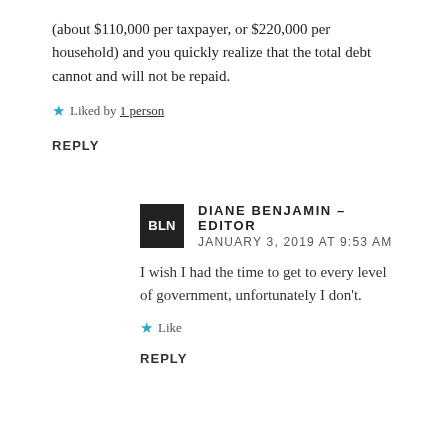(about $110,000 per taxpayer, or $220,000 per household) and you quickly realize that the total debt cannot and will not be repaid.
Liked by 1 person
REPLY
DIANE BENJAMIN - EDITOR
JANUARY 3, 2019 AT 9:53 AM
I wish I had the time to get to every level of government, unfortunately I don't.
Like
REPLY